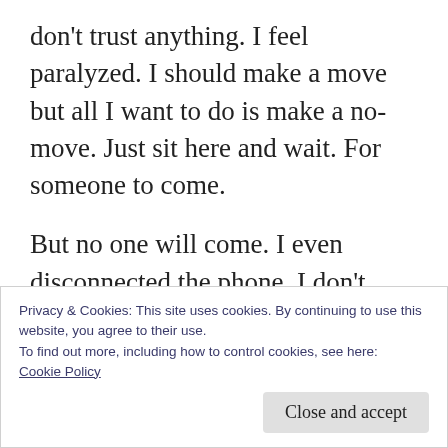don't trust anything.  I feel paralyzed.  I should make a move but all I want to do is make a no-move.  Just sit here and wait.  For someone to come.
But no one will come.  I even disconnected the phone.  I don't want to hear it ring.  I'm not going to answer anyway.  I'm tired of these fake connections.  I need the real thing.  When I feel like this I don't want to talk to anyone.  I couldn't talk anyway.  My throat is numb.  My
Privacy & Cookies: This site uses cookies. By continuing to use this website, you agree to their use.
To find out more, including how to control cookies, see here:
Cookie Policy